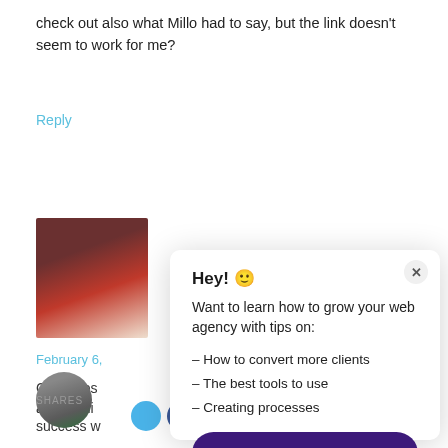check out also what Millo had to say, but the link doesn't seem to work for me?
Reply
[Figure (photo): Profile avatar photo of a man in a dark red jacket]
February 6,
Great pos...
always ni...
success w...
informati...
[Figure (photo): Second avatar photo of a man with beard in white shirt]
SHARES
Hey! 🙂

Want to learn how to grow your web agency with tips on:

- How to convert more clients
- The best tools to use
- Creating processes
Yes, show me how →